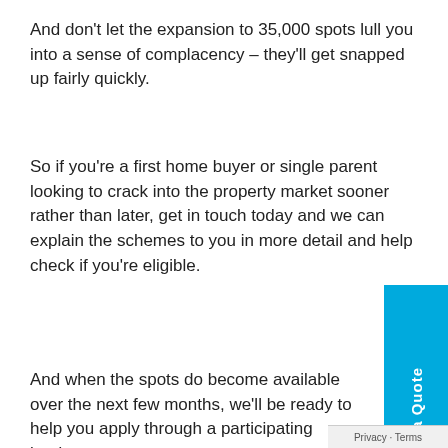And don't let the expansion to 35,000 spots lull you into a sense of complacency – they'll get snapped up fairly quickly.
So if you're a first home buyer or single parent looking to crack into the property market sooner rather than later, get in touch today and we can explain the schemes to you in more detail and help check if you're eligible.
And when the spots do become available over the next few months, we'll be ready to help you apply through a participating lender.
Disclaimer: The content of this article is gene... nature and is presented for informative purpo... It is not intended to constitute tax or financial